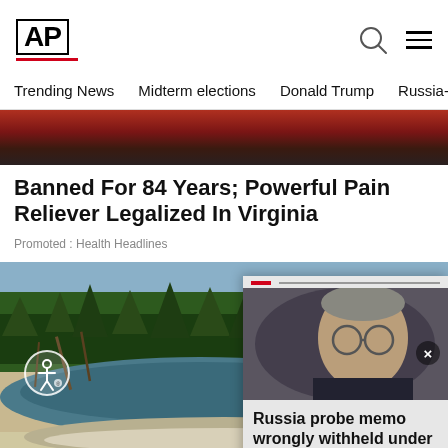AP
Trending News   Midterm elections   Donald Trump   Russia-Ukr
[Figure (photo): Close-up photo of dark red food item, partially visible at top of page]
Banned For 84 Years; Powerful Pain Reliever Legalized In Virginia
Promoted : Health Headlines
[Figure (photo): Landscape photo of a lake or hot spring in a forested area, with pine trees in the background. An overlay popup in the bottom-right shows a photo of a man with glasses and the text: Russia probe memo wrongly withheld under Barr, court ...]